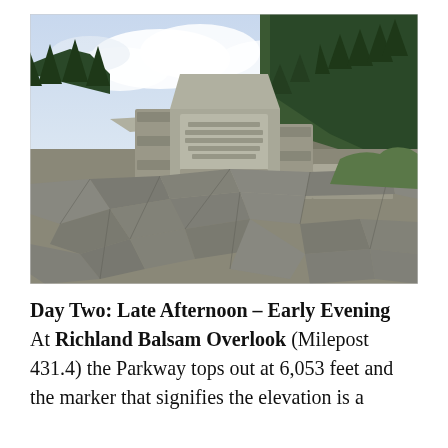[Figure (photo): Outdoor photograph of a stone monument marker at Richland Balsam Overlook on the Blue Ridge Parkway. The monument is made of stacked stone and displays text about highest elevation. A flagstone paved area is in the foreground, with a wooded hillside and partly cloudy sky in the background.]
Day Two: Late Afternoon – Early Evening At Richland Balsam Overlook (Milepost 431.4) the Parkway tops out at 6,053 feet and the marker that signifies the elevation is a